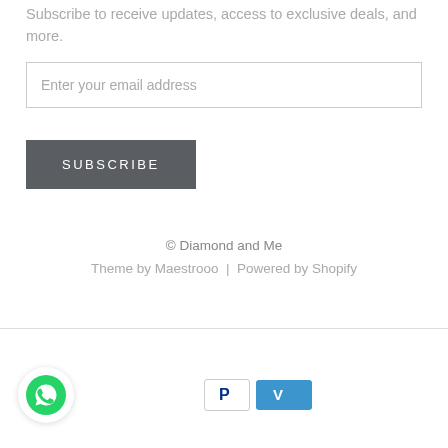Subscribe to receive updates, access to exclusive deals, and more.
Enter your email address
SUBSCRIBE
© Diamond and Me
Theme by Maestrooo | Powered by Shopify
[Figure (logo): WhatsApp logo icon — green circle with white phone handset]
[Figure (logo): PayPal logo icon — white background with dark blue P]
[Figure (logo): Venmo logo icon — light blue background with white V]